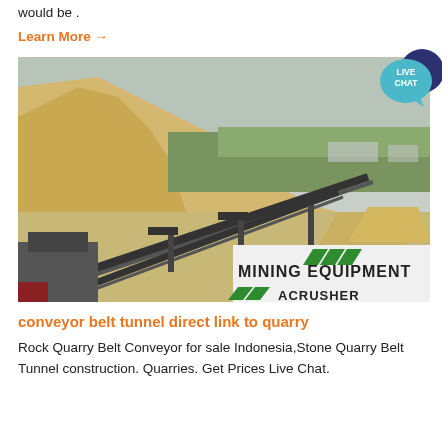would be .
Learn More →
[Figure (photo): Quarry site with conveyor belts and mining equipment. A 'LIVE CHAT' speech bubble badge is in the top-right corner. Bottom-right overlay shows 'MINING EQUIPMENT ACRUSHER' logo with green diagonal stripes.]
conveyor belt tunnel direct link to quarry
Rock Quarry Belt Conveyor for sale Indonesia,Stone Quarry Belt Tunnel construction. Quarries. Get Prices Live Chat.